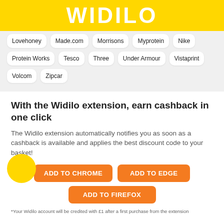WIDILO
Lovehoney
Made.com
Morrisons
Myprotein
Nike
Protein Works
Tesco
Three
Under Armour
Vistaprint
Volcom
Zipcar
With the Widilo extension, earn cashback in one click
The Widilo extension automatically notifies you as soon as a cashback is available and applies the best discount code to your basket!
ADD TO CHROME
ADD TO EDGE
ADD TO FIREFOX
*Your Widilo account will be credited with £1 after a first purchase from the extension